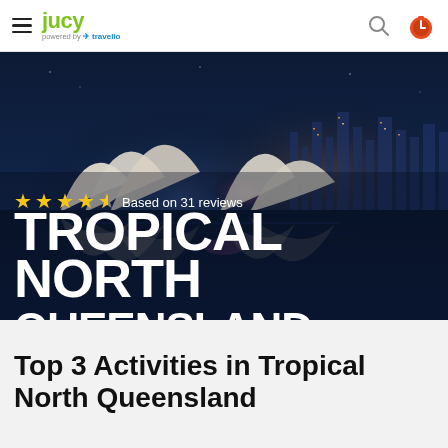JUCY — powered by travello
[Figure (photo): Hero banner image showing Sydney Opera House at night reflected in water, with dark blue night sky. Overlaid text shows star rating and destination title 'TROPICAL NORTH QUEENSLAND'. Stars: 4 out of 5, based on 31 reviews.]
Top 3 Activities in Tropical North Queensland